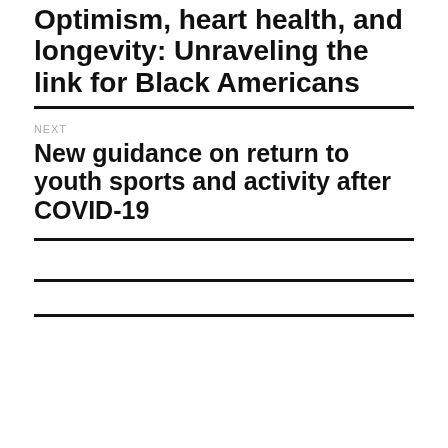Optimism, heart health, and longevity: Unraveling the link for Black Americans
NEXT
New guidance on return to youth sports and activity after COVID-19